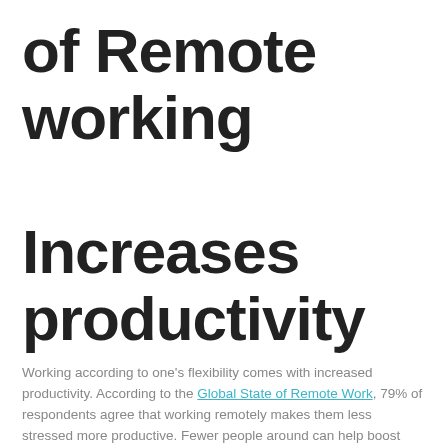of Remote working Increases productivity
Working according to one's flexibility comes with increased productivity. According to the Global State of Remote Work, 79% of respondents agree that working remotely makes them less stressed more productive. Fewer people around can help boost concentration, resulting in higher productivity.